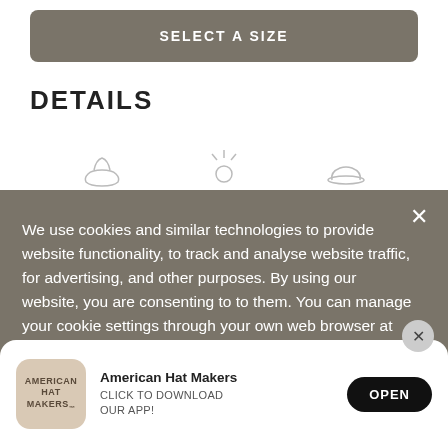SELECT A SIZE
DETAILS
[Figure (illustration): Three outline icons: a cowboy hat, a sun, and a rounded hat shape]
We use cookies and similar technologies to provide website functionality, to track and analyse website traffic, for advertising, and other purposes. By using our website, you are consenting to to them. You can manage your cookie settings through your own web browser at any time. To learn m…
[Figure (logo): American Hat Makers app icon — beige rounded square with text logo]
American Hat Makers
CLICK TO DOWNLOAD OUR APP!
OPEN